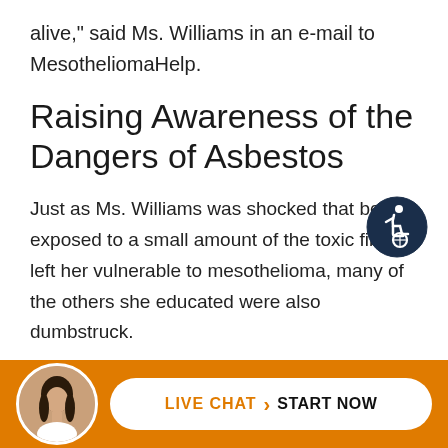alive," said Ms. Williams in an e-mail to MesotheliomaHelp.
Raising Awareness of the Dangers of Asbestos
Just as Ms. Williams was shocked that being exposed to a small amount of the toxic fiber left her vulnerable to mesothelioma, many of the others she educated were also dumbstruck.
“Being a woman and living with this cancer has been an eye opener for many people,” said Ms.
[Figure (illustration): Accessibility icon: circular dark navy badge with wheelchair user symbol in white]
[Figure (photo): Live chat widget at bottom of page with woman avatar, orange background, and white pill-shaped button reading LIVE CHAT > START NOW]